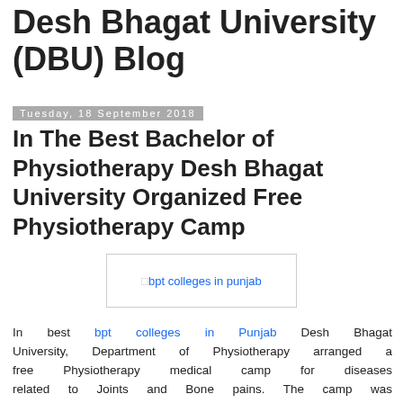Desh Bhagat University (DBU) Blog
Tuesday, 18 September 2018
In The Best Bachelor of Physiotherapy Desh Bhagat University Organized Free Physiotherapy Camp
[Figure (other): Image placeholder labeled 'bpt colleges in punjab']
In best bpt colleges in Punjab Desh Bhagat University, Department of Physiotherapy arranged a free Physiotherapy medical camp for diseases related to Joints and Bone pains. The camp was organized to make people aware of health and fitness. Pro-Chancellor Dr. Tajinder Kaur inaugurated the camp and said that a little change in daily routine, Morning walk, 15 minutes of exercise, Meditation and by avoiding oily and spicy foods, we can remain fit